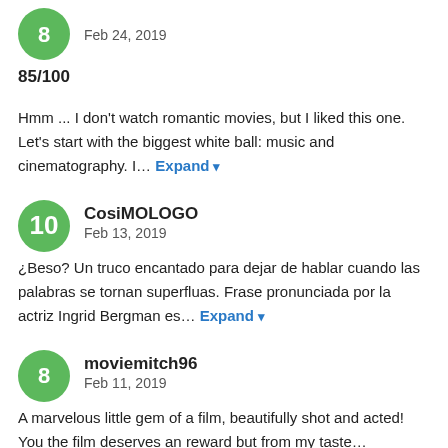[Figure (other): Green circular avatar with number 8]
Feb 24, 2019
85/100
Hmm ... I don't watch romantic movies, but I liked this one. Let's start with the biggest white ball: music and cinematography. I… Expand
[Figure (other): Green circular avatar with number 10]
CosiMOLOGO
Feb 13, 2019
¿Beso? Un truco encantado para dejar de hablar cuando las palabras se tornan superfluas. Frase pronunciada por la actriz Ingrid Bergman es… Expand
[Figure (other): Green circular avatar with number 8]
moviemitch96
Feb 11, 2019
A marvelous little gem of a film, beautifully shot and acted! You the film deserves an award but from my taste…